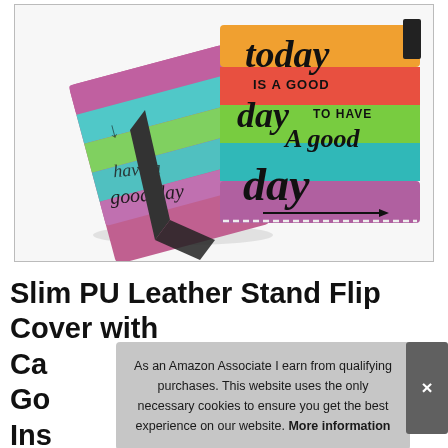[Figure (photo): Product photo of a rainbow-striped PU leather book-style tablet case shown from two angles. The cover features colorful horizontal stripes (orange, coral, green, teal, purple) with black cursive text reading 'today IS A GOOD day TO HAVE A good day' on the front, and an arrow motif. One case is propped open as a stand, the other shows the front cover.]
Slim PU Leather Stand Flip Cover with Ca... Go... Ins...
As an Amazon Associate I earn from qualifying purchases. This website uses the only necessary cookies to ensure you get the best experience on our website. More information